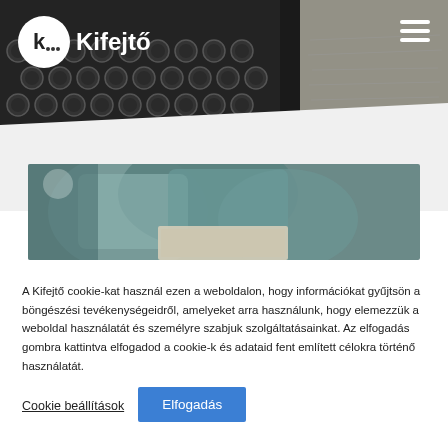Kifejtő
[Figure (photo): Header photo of a vintage typewriter with circular keys, dark background, with a handwritten note visible on the right side.]
[Figure (photo): Partial view of a cozy reading scene with teal/gray cushions and what appears to be a book on a surface.]
A Kifejtő cookie-kat használ ezen a weboldalon, hogy információkat gyűjtsön a böngészési tevékenységeidről, amelyeket arra használunk, hogy elemezzük a weboldal használatát és személyre szabjuk szolgáltatásainkat. Az elfogadás gombra kattintva elfogadod a cookie-k és adataid fent említett célokra történő használatát.
Cookie beállítások
Elfogadás